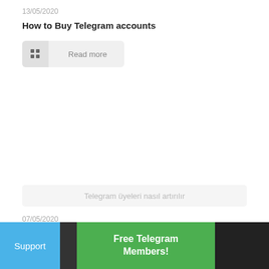13/05/2020
How to Buy Telegram accounts
Read more
Telegram üyeleri nasıl artırılır
07/05/2020
Telegram...
Support
Free Telegram Members!